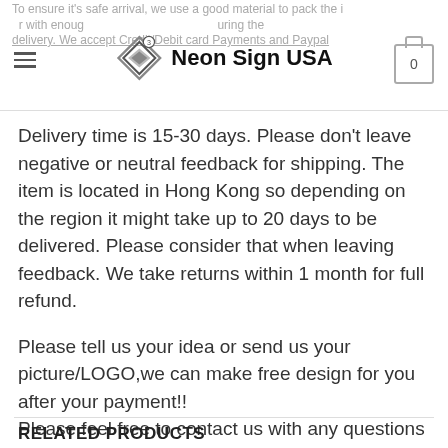To ensure it's safe arrival, we use a good material to pack the item with enough cushioning to protect the item during the delivery. We accept Credit/Debit card Payments and Paypal — Neon Sign USA (logo) — cart 0
Delivery time is 15-30 days. Please don't leave negative or neutral feedback for shipping. The item is located in Hong Kong so depending on the region it might take up to 20 days to be delivered. Please consider that when leaving feedback. We take returns within 1 month for full refund.
Please tell us your idea or send us your picture/LOGO,we can make free design for you after your payment!!
Please feel free to contact us with any questions or concerns through Email Messages, as this is the fastest and most secure way to reach us.
RELATED PRODUCTS